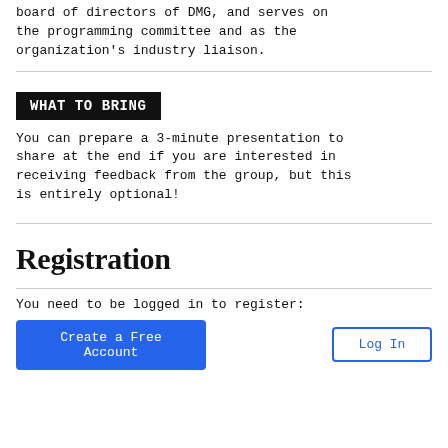board of directors of DMG, and serves on the programming committee and as the organization's industry liaison.
WHAT TO BRING
You can prepare a 3-minute presentation to share at the end if you are interested in receiving feedback from the group, but this is entirely optional!
Registration
You need to be logged in to register:
Create a Free Account
Log In